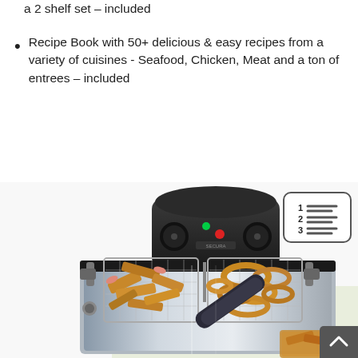a 2 shelf set – included
Recipe Book with 50+ delicious & easy recipes from a variety of cuisines - Seafood, Chicken, Meat and a ton of entrees – included
[Figure (photo): A Secura brand deep fryer with stainless steel body and black control panel, shown with two frying baskets containing fried shrimp/tempura and onion rings. A third basket with fried food is partially visible at the bottom right.]